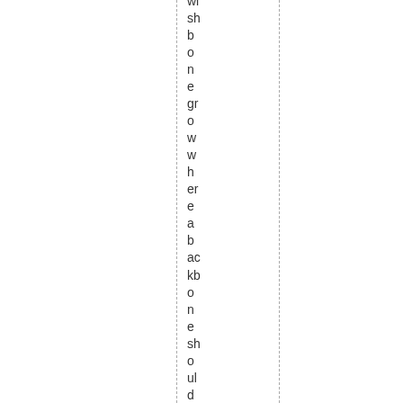wishbone one grow where a backbone should be. 12. If yo